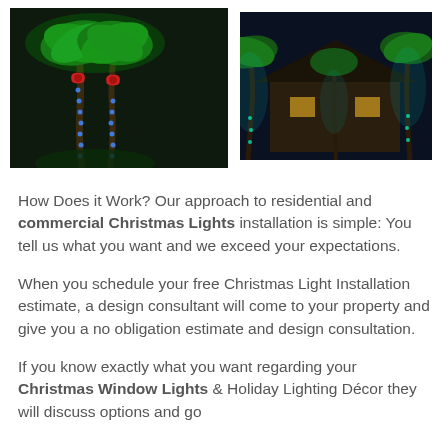[Figure (photo): Two palm trees wrapped in colorful Christmas lights (green and blue) with red bows, photographed at night against a dark background.]
[Figure (photo): A house at night with palm trees and holiday lighting illuminating the property, showing teal/green uplighting on palm trees and warm lighting on the building.]
How Does it Work? Our approach to residential and commercial Christmas Lights installation is simple: You tell us what you want and we exceed your expectations.
When you schedule your free Christmas Light Installation estimate, a design consultant will come to your property and give you a no obligation estimate and design consultation.
If you know exactly what you want regarding your Christmas Window Lights & Holiday Lighting Décor they will discuss options and go